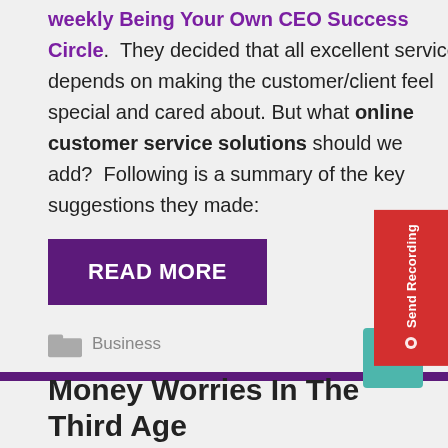discussing the answers to these questions in our weekly Being Your Own CEO Success Circle. They decided that all excellent service depends on making the customer/client feel special and cared about. But what online customer service solutions should we add? Following is a summary of the key suggestions they made:
READ MORE
Business
Money Worries In The Third Age